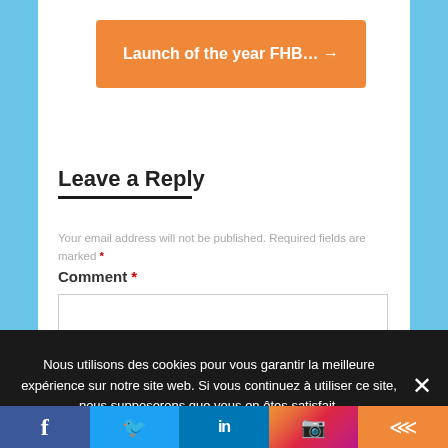Launch of the year FHB… →
Leave a Reply
Your email address will not be published. Required fields are marked *
Comment *
Nous utilisons des cookies pour vous garantir la meilleure expérience sur notre site web. Si vous continuez à utiliser ce site, nous supposerons que vous en êtes satisfait.
f | Twitter | in | Instagram | Share